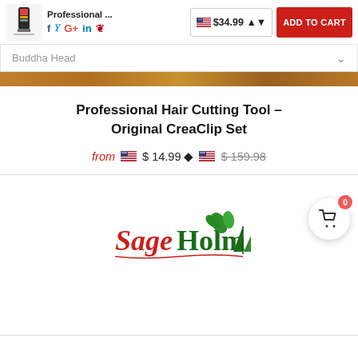[Figure (screenshot): E-commerce product page screenshot showing a hair cutting tool product listing with price $34.99, Add to Cart button, social share icons, product title, pricing from $14.99 to $159.98, shopping cart bubble, and SageHolm logo]
Professional Hair Cutting Tool – Original CreaClip Set
from $ 14.99  $ 159.98
[Figure (logo): SageHolm logo with green plant/leaf motif and sailing boat graphic]